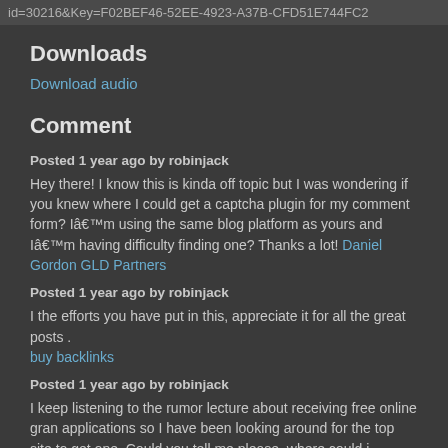id=30216&Key=F02BEF46-52EE-4923-A37B-CFD51E744FC2
Downloads
Download audio
Comment
Posted 1 year ago by robinjack
Hey there! I know this is kinda off topic but I was wondering if you knew where I could get a captcha plugin for my comment form? Iâ€™m using the same blog platform as yours and Iâ€™m having difficulty finding one? Thanks a lot! Daniel Gordon GLD Partners
Posted 1 year ago by robinjack
I the efforts you have put in this, appreciate it for all the great posts . buy backlinks
Posted 1 year ago by robinjack
I keep listening to the rumor lecture about receiving free online gran applications so I have been looking around for the top site to get one. Could you tell me please, where could i acquire some? xvideos chaturbate